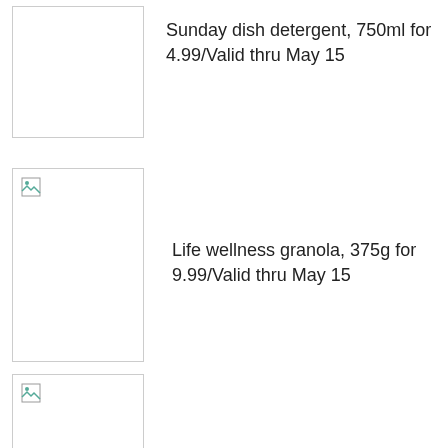[Figure (photo): Product image placeholder for Sunday dish detergent (broken image icon)]
Sunday dish detergent, 750ml for 4.99/Valid thru May 15
[Figure (photo): Product image placeholder for Life wellness granola (broken image icon)]
Life wellness granola, 375g for 9.99/Valid thru May 15
[Figure (photo): Product image placeholder (broken image icon, partially visible at bottom)]